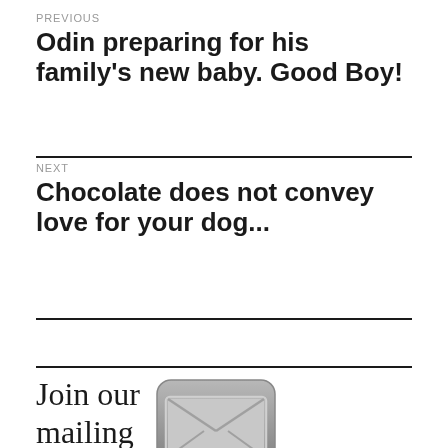PREVIOUS
Odin preparing for his family's new baby. Good Boy!
NEXT
Chocolate does not convey love for your dog...
Join our mailing
[Figure (illustration): Gray email/envelope icon with rounded rectangle border]